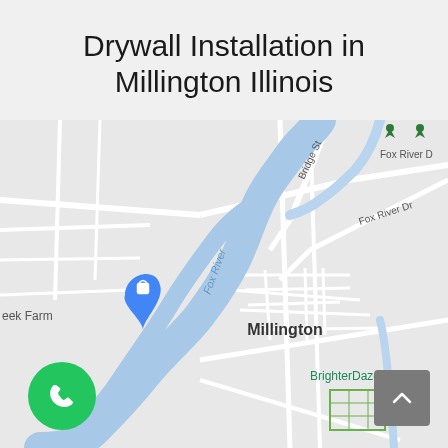Drywall Installation in Millington Illinois
[Figure (map): Google Maps screenshot showing Millington, Illinois area with Fox River running through it. Labels visible include Fox River, Bridge St, Fox River Dr, Millington, Fox River Dr (top right), eek Farm (left), BrighterDaze Farm (bottom right). Two green location pins visible at top. Blue location pin on left side near 'eek Farm'.]